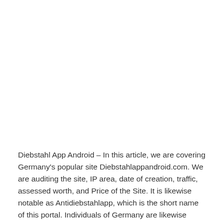Diebstahl App Android – In this article, we are covering Germany's popular site Diebstahlappandroid.com. We are auditing the site, IP area, date of creation, traffic, assessed worth, and Price of the Site. It is likewise notable as Antidiebstahlapp, which is the short name of this portal. Individuals of Germany are likewise looking for Antidiebstahlapp.com or Antidiebstahlapp which is a Not